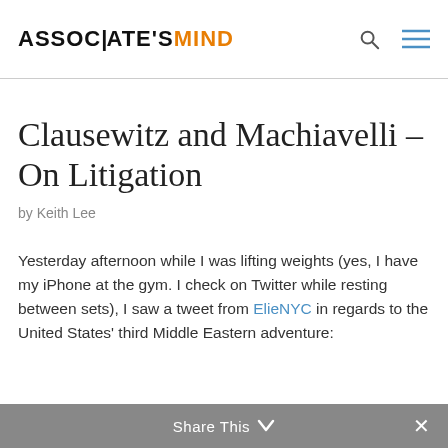ASSOCIATE'S MIND
Clausewitz and Machiavelli – On Litigation
by Keith Lee
Yesterday afternoon while I was lifting weights (yes, I have my iPhone at the gym. I check on Twitter while resting between sets), I saw a tweet from ElieNYC in regards to the United States' third Middle Eastern adventure:
Share This